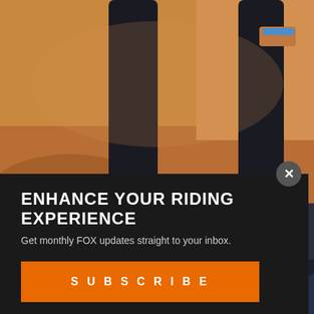[Figure (photo): Background photo of a person's legs and feet wearing dark athletic pants and trail shoes, standing on rocky/sandy terrain. Warm orange-brown color tone.]
ENHANCE YOUR RIDING EXPERIENCE
Get monthly FOX updates straight to your inbox.
SUBSCRIBE
CONGRATULATIONS!